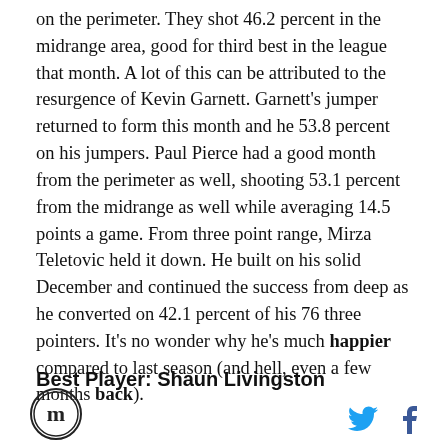on the perimeter. They shot 46.2 percent in the midrange area, good for third best in the league that month. A lot of this can be attributed to the resurgence of Kevin Garnett. Garnett's jumper returned to form this month and he 53.8 percent on his jumpers. Paul Pierce had a good month from the perimeter as well, shooting 53.1 percent from the midrange as well while averaging 14.5 points a game. From three point range, Mirza Teletovic held it down. He built on his solid December and continued the success from deep as he converted on 42.1 percent of his 76 three pointers. It's no wonder why he's much happier compared to last season (and hell, even a few months back).
Best Player: Shaun Livingston
[Figure (logo): Circular logo with M letter in center]
[Figure (logo): Twitter bird icon in blue]
[Figure (logo): Facebook f icon in dark blue]